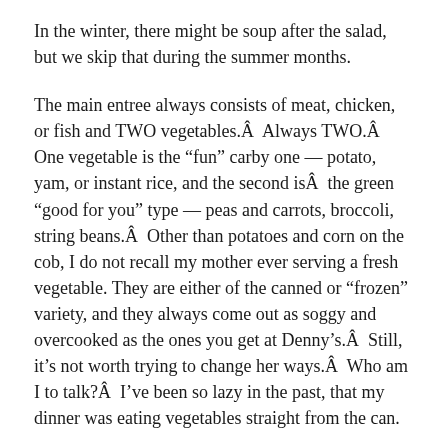In the winter, there might be soup after the salad, but we skip that during the summer months.
The main entree always consists of meat, chicken, or fish and TWO vegetables.Â  Always TWO.Â  One vegetable is the “fun” carby one — potato, yam, or instant rice, and the second isÂ  the green “good for you” type — peas and carrots, broccoli, string beans.Â  Other than potatoes and corn on the cob, I do not recall my mother ever serving a fresh vegetable. They are either of the canned or “frozen” variety, and they always come out as soggy and overcooked as the ones you get at Denny’s.Â  Still, it’s not worth trying to change her ways.Â  Who am I to talk?Â  I’ve been so lazy in the past, that my dinner was eating vegetables straight from the can.
I AM trying to change my mother’s portion control.Â  For some reason, she has never been a leftover keeper, other than saving over food during big events, like